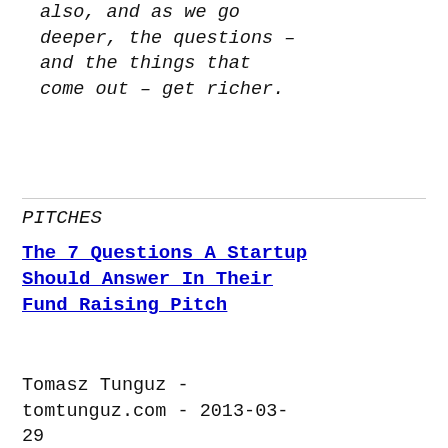also, and as we go deeper, the questions – and the things that come out – get richer.
PITCHES
The 7 Questions A Startup Should Answer In Their Fund Raising Pitch
Tomasz Tunguz - tomtunguz.com - 2013-03-29
[Value prop] What is the problem and is it worth solving? Why is now the right time to solve it? [Team] Does the team have the vision and the wherewithal to build this company? [Go to market] What is the competitive angle (competitive barrier to